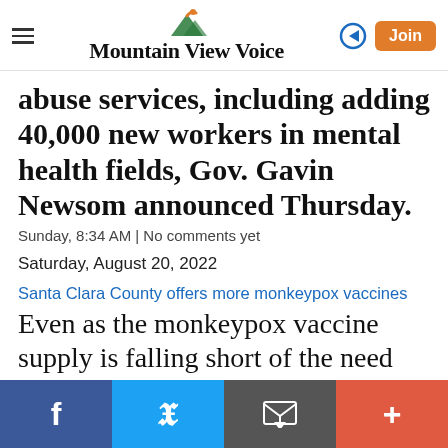Mountain View Voice
abuse services, including adding 40,000 new workers in mental health fields, Gov. Gavin Newsom announced Thursday.
Sunday, 8:34 AM | No comments yet
Saturday, August 20, 2022
Santa Clara County offers more monkeypox vaccines
Even as the monkeypox vaccine supply is falling short of the need nationally, Santa Clara County is preparing to offer more appointments for people seeking a dose due to a change in vaccination